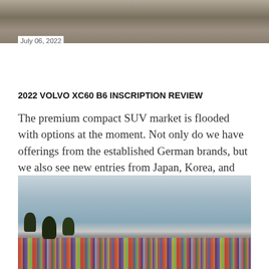[Figure (photo): Top portion of a car photo on a road, partially visible]
July 06, 2022
2022 VOLVO XC60 B6 INSCRIPTION REVIEW
The premium compact SUV market is flooded with options at the moment. Not only do we have offerings from the established German brands, but we also see new entries from Japan, Korea, and the sta...
Share    Post a Comment
[Figure (photo): Urban building facade with colorful patterned wall covering and trees in the foreground]